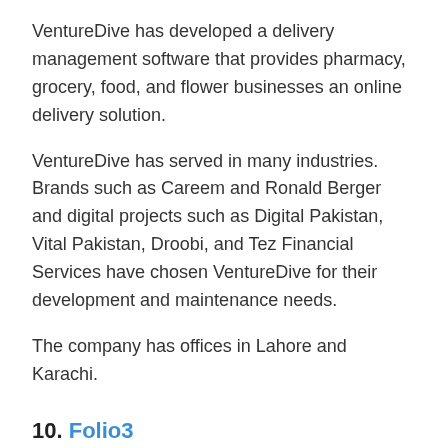VentureDive has developed a delivery management software that provides pharmacy, grocery, food, and flower businesses an online delivery solution.
VentureDive has served in many industries. Brands such as Careem and Ronald Berger and digital projects such as Digital Pakistan, Vital Pakistan, Droobi, and Tez Financial Services have chosen VentureDive for their development and maintenance needs.
The company has offices in Lahore and Karachi.
10. Folio3
Folio3 defines itself as a software development partner for fortune 500s, enterprises, and startups. The company offers mobile development,